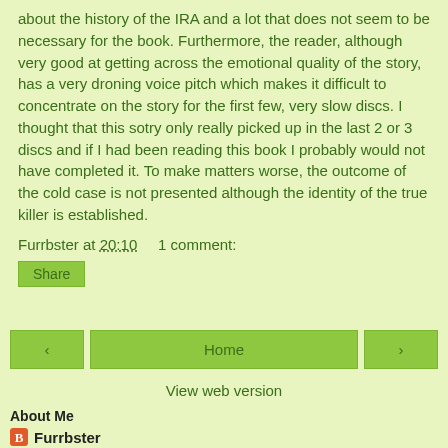about the history of the IRA and a lot that does not seem to be necessary for the book. Furthermore, the reader, although very good at getting across the emotional quality of the story, has a very droning voice pitch which makes it difficult to concentrate on the story for the first few, very slow discs. I thought that this sotry only really picked up in the last 2 or 3 discs and if I had been reading this book I probably would not have completed it. To make matters worse, the outcome of the cold case is not presented although the identity of the true killer is established.
Furrbster at 20:10    1 comment:
Share
‹
Home
›
View web version
About Me
Furrbster